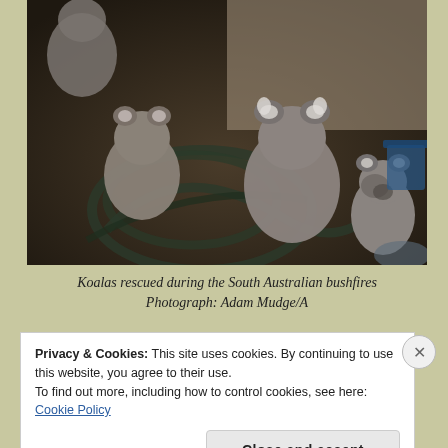[Figure (photo): Photograph of multiple koalas rescued during the South Australian bushfires, sitting on a dark floor surrounded by garden hoses inside what appears to be a shed or building.]
Koalas rescued during the South Australian bushfires Photograph: Adam Mudge/A
Privacy & Cookies: This site uses cookies. By continuing to use this website, you agree to their use.
To find out more, including how to control cookies, see here: Cookie Policy
Close and accept